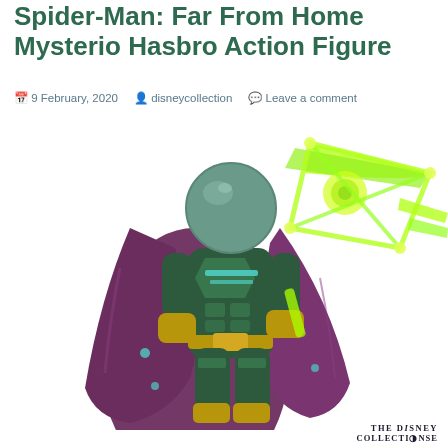Spider-Man: Far From Home Mysterio Hasbro Action Figure
9 February, 2020   disneycollection   Leave a comment
[Figure (photo): Mysterio action figure from Spider-Man: Far From Home by Hasbro, shown from behind with green and gold armor suit, purple cape, metallic globe helmet, and translucent green energy effect accessory held in right hand]
The Disney Collection